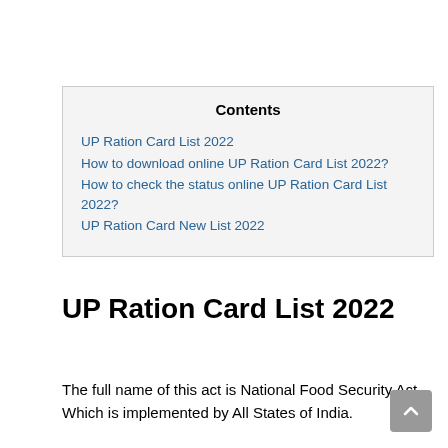| Contents |
| --- |
| UP Ration Card List 2022 |
| How to download online UP Ration Card List 2022? |
| How to check the status online UP Ration Card List 2022? |
| UP Ration Card New List 2022 |
UP Ration Card List 2022
The full name of this act is National Food Security Act. Which is implemented by All States of India.